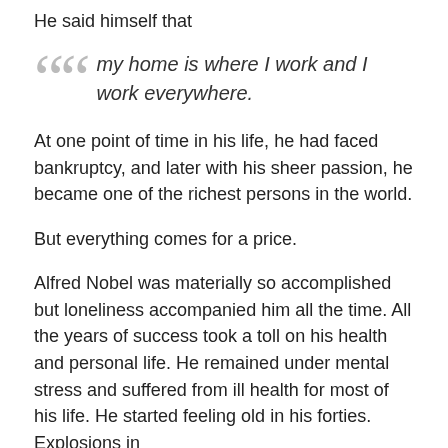He said himself that
my home is where I work and I work everywhere.
At one point of time in his life, he had faced bankruptcy, and later with his sheer passion, he became one of the richest persons in the world.
But everything comes for a price.
Alfred Nobel was materially so accomplished but loneliness accompanied him all the time. All the years of success took a toll on his health and personal life. He remained under mental stress and suffered from ill health for most of his life. He started feeling old in his forties. Explosions in